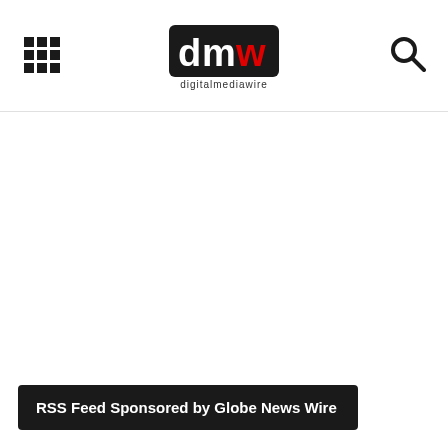digitalmediawire
RSS Feed Sponsored by Globe News Wire